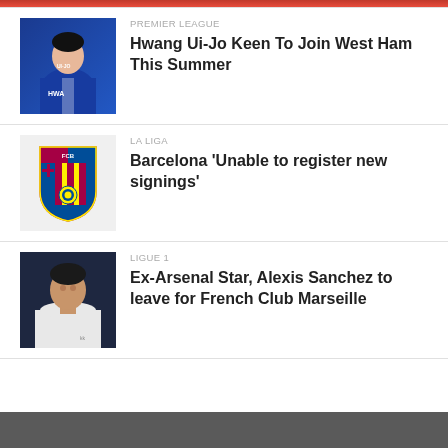[Figure (photo): Partial cropped photo at top, reddish colors]
[Figure (photo): Hwang Ui-Jo player photo in blue jersey with UI-JO HWANG text]
PREMIER LEAGUE
Hwang Ui-Jo Keen To Join West Ham This Summer
[Figure (logo): FC Barcelona crest logo on gray background]
LA LIGA
Barcelona 'Unable to register new signings'
[Figure (photo): Alexis Sanchez player photo in white jersey]
LIGUE 1
Ex-Arsenal Star, Alexis Sanchez to leave for French Club Marseille